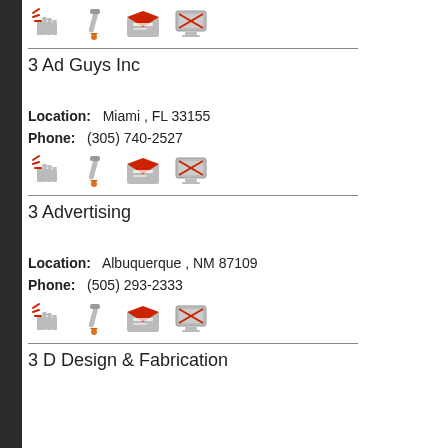[Figure (other): Row of four icons: hand cursor, pencil/brush, envelope (mail), computer monitor]
3 Ad Guys Inc
Location: Miami , FL 33155
Phone: (305) 740-2527
[Figure (other): Row of four icons: hand cursor, pencil/brush, envelope (mail), computer monitor]
3 Advertising
Location: Albuquerque , NM 87109
Phone: (505) 293-2333
[Figure (other): Row of four icons: hand cursor, pencil/brush, envelope (mail), computer monitor]
3 D Design & Fabrication